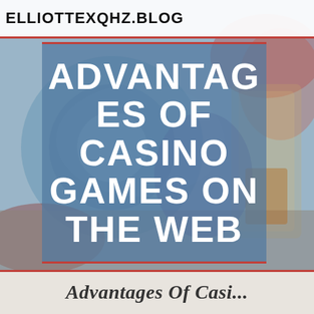ELLIOTTEXQHZ.BLOG
[Figure (photo): Blurred background photo showing casino chips and a glass of whiskey/drink on a table]
ADVANTAGES OF CASINO GAMES ON THE WEB
Advantages Of Casi...